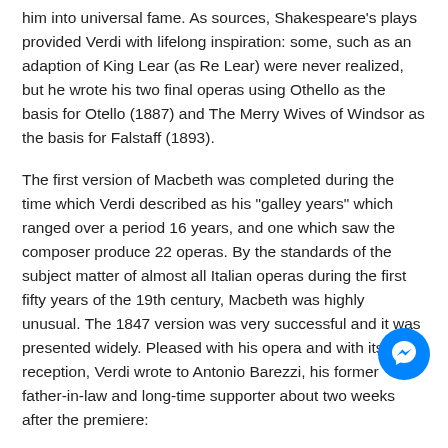him into universal fame. As sources, Shakespeare's plays provided Verdi with lifelong inspiration: some, such as an adaption of King Lear (as Re Lear) were never realized, but he wrote his two final operas using Othello as the basis for Otello (1887) and The Merry Wives of Windsor as the basis for Falstaff (1893).
The first version of Macbeth was completed during the time which Verdi described as his "galley years" which ranged over a period 16 years, and one which saw the composer produce 22 operas. By the standards of the subject matter of almost all Italian operas during the first fifty years of the 19th century, Macbeth was highly unusual. The 1847 version was very successful and it was presented widely. Pleased with his opera and with its reception, Verdi wrote to Antonio Barezzi, his former father-in-law and long-time supporter about two weeks after the premiere:
" I have long intended to dedicate an opera to you, who have been father, benefactor, and friend to me. It was a duty I should have fulfilled sooner if imperious circumstances had not prevented. Now, I send you Macbeth which I prize above all my other operas, and therefore deem worthier to present to you."